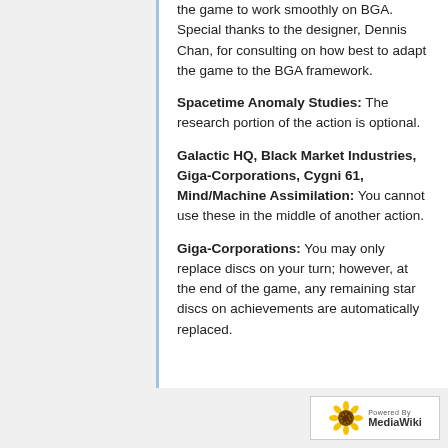the game to work smoothly on BGA. Special thanks to the designer, Dennis Chan, for consulting on how best to adapt the game to the BGA framework.
Spacetime Anomaly Studies: The research portion of the action is optional.
Galactic HQ, Black Market Industries, Giga-Corporations, Cygni 61, Mind/Machine Assimilation: You cannot use these in the middle of another action.
Giga-Corporations: You may only replace discs on your turn; however, at the end of the game, any remaining star discs on achievements are automatically replaced.
[Figure (logo): Powered by MediaWiki logo with sunflower icon]